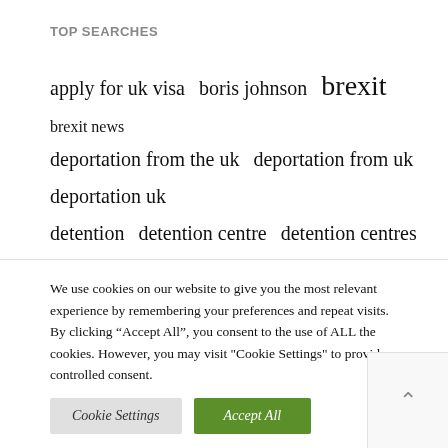TOP SEARCHES
apply for uk visa  boris johnson  brexit  brexit news  deportation from the uk  deportation from uk  deportation uk  detention  detention centre  detention centres  immigration  immigration detention  immigration detention centre  immigration detention centres uk  immigration uk  news  rt uk  spouse visa  spouse visa uk  study visa  tier 2 visa uk  uk
We use cookies on our website to give you the most relevant experience by remembering your preferences and repeat visits. By clicking “Accept All”, you consent to the use of ALL the cookies. However, you may visit "Cookie Settings" to provide a controlled consent.